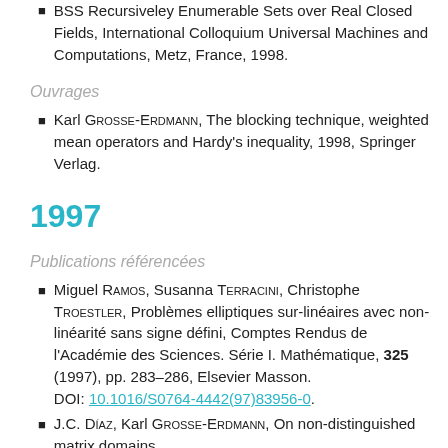BSS Recursiveley Enumerable Sets over Real Closed Fields, International Colloquium Universal Machines and Computations, Metz, France, 1998.
Ouvrages
Karl Grosse-Erdmann, The blocking technique, weighted mean operators and Hardy's inequality, 1998, Springer Verlag.
1997
Publications référencées
Miguel Ramos, Susanna Terracini, Christophe Troestler, Problèmes elliptiques sur-linéaires avec non-linéarité sans signe défini, Comptes Rendus de l'Académie des Sciences. Série I. Mathématique, 325 (1997), pp. 283–286, Elsevier Masson. DOI: 10.1016/S0764-4442(97)83956-0.
J.C. Díaz, Karl Grosse-Erdmann, On non-distinguished matrix domains